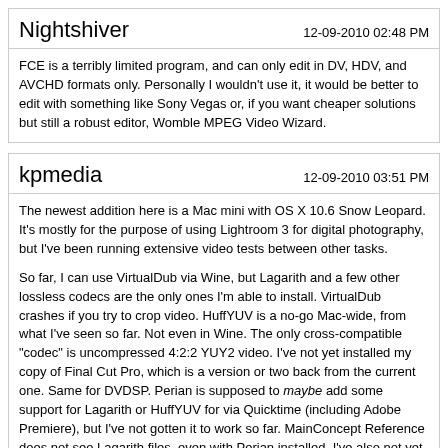Nightshiver
12-09-2010 02:48 PM
FCE is a terribly limited program, and can only edit in DV, HDV, and AVCHD formats only. Personally I wouldn't use it, it would be better to edit with something like Sony Vegas or, if you want cheaper solutions but still a robust editor, Womble MPEG Video Wizard.
kpmedia
12-09-2010 03:51 PM
The newest addition here is a Mac mini with OS X 10.6 Snow Leopard. It's mostly for the purpose of using Lightroom 3 for digital photography, but I've been running extensive video tests between other tasks.
So far, I can use VirtualDub via Wine, but Lagarith and a few other lossless codecs are the only ones I'm able to install. VirtualDub crashes if you try to crop video. HuffYUV is a no-go Mac-wide, from what I've seen so far. Not even in Wine. The only cross-compatible "codec" is uncompressed 4:2:2 YUY2 video. I've not yet installed my copy of Final Cut Pro, which is a version or two back from the current one. Same for DVDSP. Perian is supposed to maybe add some support for Lagarith or HuffYUV for via Quicktime (including Adobe Premiere), but I've not gotten it to work so far. MainConcept Reference does not see Lagarith files, even with Perian installed. I've also not yet installed Premiere CS3.